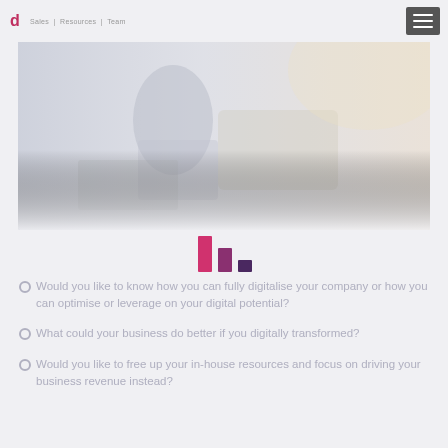Sales | Resources | Team
[Figure (photo): Business professionals working at a laptop, faded/light overlay hero image]
[Figure (bar-chart): Small decorative bar chart logo with three bars in pink/magenta and purple tones]
Would you like to know how you can fully digitalise your company or how you can optimise or leverage on your digital potential?
What could your business do better if you digitally transformed?
Would you like to free up your in-house resources and focus on driving your business revenue instead?